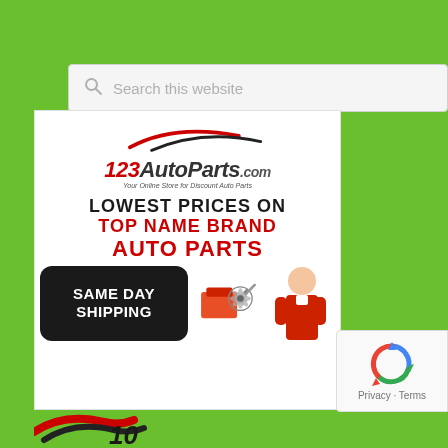[Figure (screenshot): Search bar with placeholder text 'Search this website' and a magnifying glass icon on a light gray background]
[Figure (infographic): 123AutoParts.com advertisement banner. Shows logo with red car swoosh, brand name '123AutoParts.com', tagline 'Your Online Store for Discount Auto Parts'. Text reads 'LOWEST PRICES ON TOP NAME BRAND AUTO PARTS'. Bottom section shows 'SAME DAY SHIPPING' on dark rounded rectangle with engine and mechanic images.]
[Figure (logo): reCAPTCHA badge showing recycling arrows logo icon with 'Privacy - Terms' text below]
[Figure (logo): Partial red and dark logo visible at the bottom of the page, partially cut off]